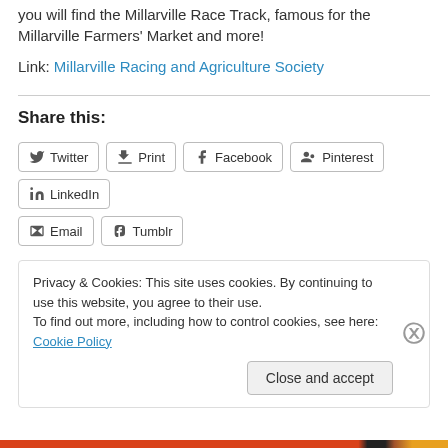you will find the Millarville Race Track, famous for the Millarville Farmers' Market and more!
Link: Millarville Racing and Agriculture Society
Share this:
Twitter  Print  Facebook  Pinterest  LinkedIn  Email  Tumblr
Privacy & Cookies: This site uses cookies. By continuing to use this website, you agree to their use.
To find out more, including how to control cookies, see here: Cookie Policy
Close and accept